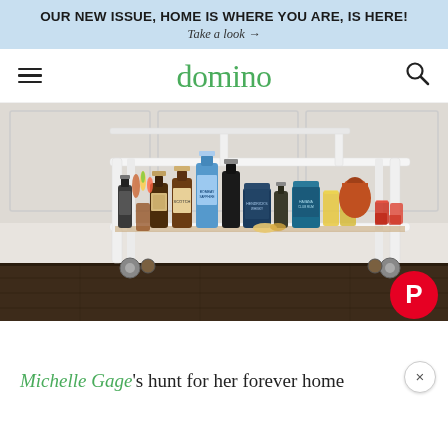OUR NEW ISSUE, HOME IS WHERE YOU ARE, IS HERE! Take a look →
domino
[Figure (photo): A white bar cart on casters loaded with bottles of liquor, colorful cocktail glasses, and bar accessories on a dark hardwood floor against a white wainscoted wall. A red Pinterest save button appears in the bottom right corner.]
Michelle Gage's hunt for her forever home